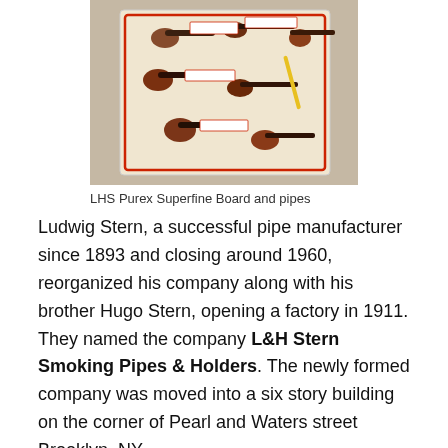[Figure (photo): Photograph of LHS Purex Superfine Board displaying multiple tobacco pipes arranged on a display card with red labels]
LHS Purex Superfine Board and pipes
Ludwig Stern, a successful pipe manufacturer since 1893 and closing around 1960, reorganized his company along with his brother Hugo Stern, opening a factory in 1911. They named the company L&H Stern Smoking Pipes & Holders. The newly formed company was moved into a six story building on the corner of Pearl and Waters street Brooklyn, NY.
Notes from Geyer's Stationer